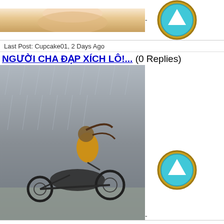[Figure (photo): Partially visible cupcake/pastry image at top]
Last Post: Cupcake01, 2 Days Ago
NGƯỜI CHA ĐẠP XÍCH LÔ!... (0 Replies)
[Figure (photo): Man riding a cyclo (xich lo) in the rain, black and white photo]
Last Post: goodidea, 2 Days Ago
SỰ HỜI HỢT SẼ ĐI ĐẾN ĐÂU?... (0 Replies)
[Figure (photo): Silhouette of a person doing a martial arts kick against an orange background]
Last Post: goodidea, 2 Days Ago
Mượn ảnh gái xinh, nữ quái đưa cả đám đàn